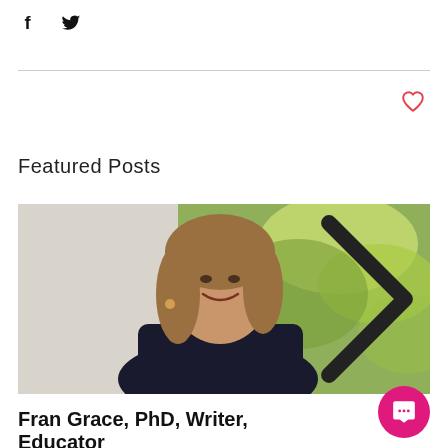[Figure (other): Social media share icons: Facebook (f) and Twitter (bird)]
[Figure (other): Heart/like icon (outline, red) in top right area]
Featured Posts
[Figure (photo): Portrait photo of a smiling woman with shoulder-length brown hair, wearing a black top, outdoors with green foliage background. Navigation chevron (>) visible on right side.]
Fran Grace, PhD, Writer, Educator